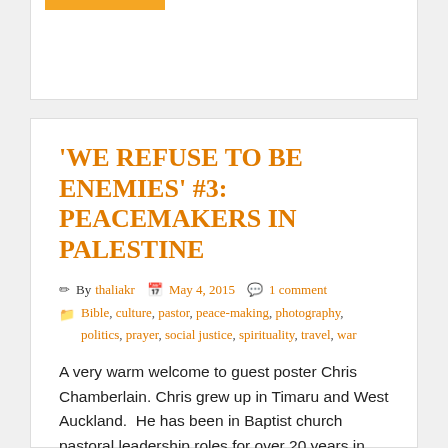'WE REFUSE TO BE ENEMIES' #3: PEACEMAKERS IN PALESTINE
By thaliakr  May 4, 2015  1 comment
Bible, culture, pastor, peace-making, photography, politics, prayer, social justice, spirituality, travel, war
A very warm welcome to guest poster Chris Chamberlain. Chris grew up in Timaru and West Auckland.  He has been in Baptist church pastoral leadership roles for over 20 years in exciting places like